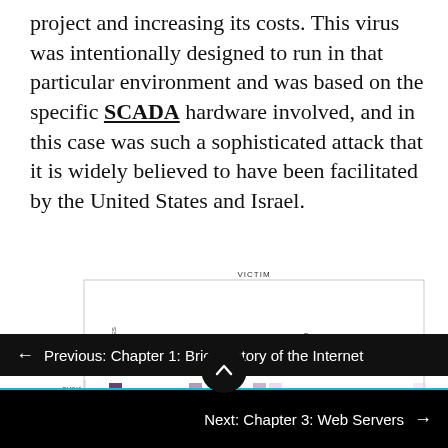project and increasing its costs. This virus was intentionally designed to run in that particular environment and was based on the specific SCADA hardware involved, and in this case was such a sophisticated attack that it is widely believed to have been facilitated by the United States and Israel.
[Figure (other): A matrix/heatmap showing cyber attack relationships between nations. Rows (attackers): CHINA, UNITED STATES, S. KOREA, N. KOREA. Columns (victims): CHINA, UNITED STATES, S. KOREA, N. KOREA, JAPAN, IRAN, INDIA, PAKISTAN, ISRAEL, RUSSIA, TAIWAN, GEORGIA, VIETNAM, BANGLADESH, CYPRUS, IRAQ, KUWAIT, LEBANON, PHILIPPINES, SYRIA, TURKEY. Header says VICTIM. Cells shaded in varying intensities of purple indicating attack frequency/intensity.]
← Previous: Chapter 1: Brief History of the Internet
Next: Chapter 3: Web Servers →